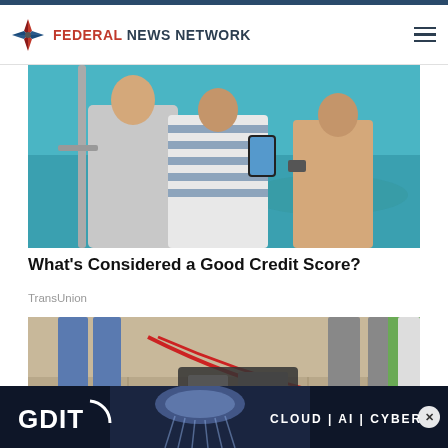Federal News Network
[Figure (photo): Two people sitting outdoors near water, looking at a smartphone, one wearing a striped shirt]
What's Considered a Good Credit Score?
TransUnion
[Figure (photo): Person walking a dog on a leash on a paved outdoor area, with jumper cables visible on the ground]
[Figure (other): GDIT advertisement banner: CLOUD | AI | CYBER with jellyfish image]